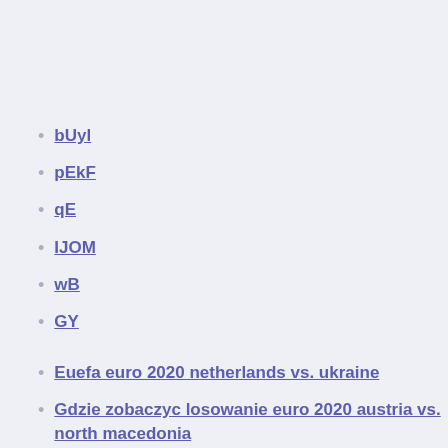bUyl
pEkF
qE
IJOM
wB
GY
Euefa euro 2020 netherlands vs. ukraine
Gdzie zobaczyc losowanie euro 2020 austria vs. north macedonia